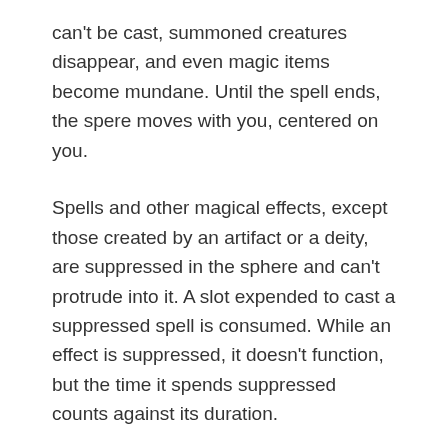can't be cast, summoned creatures disappear, and even magic items become mundane. Until the spell ends, the spere moves with you, centered on you.
Spells and other magical effects, except those created by an artifact or a deity, are suppressed in the sphere and can't protrude into it. A slot expended to cast a suppressed spell is consumed. While an effect is suppressed, it doesn't function, but the time it spends suppressed counts against its duration.
Targeted Effects.
Spells and other magical effects, such as magic missle and charm person, that target a creature or